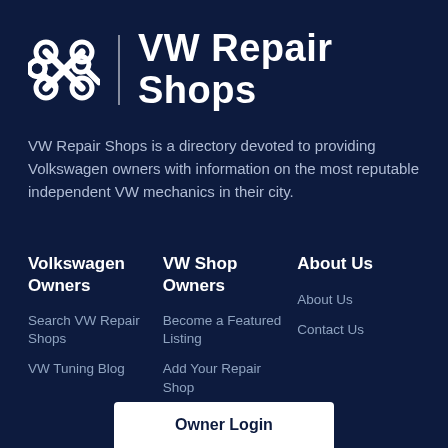VW Repair Shops
VW Repair Shops is a directory devoted to providing Volkswagen owners with information on the most reputable independent VW mechanics in their city.
Volkswagen Owners
Search VW Repair Shops
VW Tuning Blog
VW Shop Owners
Become a Featured Listing
Add Your Repair Shop
Login
About Us
About Us
Contact Us
Owner Login